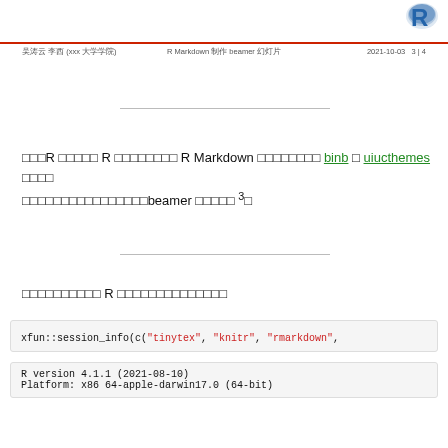[Figure (logo): R language logo in top right corner]
吴涛云 李西 (xxx 大学学院)   R Markdown 制作 beamer 幻灯片   2021-10-03   3 | 4
对于R 用户以及 R Markdown用户而言 binb 和 uiucthemes 提供了许多漂亮的beamer 幻灯片 ³。
可以使用以下 R 代码查看会话信息
xfun::session_info(c("tinytex", "knitr", "rmarkdown",
R version 4.1.1 (2021-08-10)
Platform: x86 64-apple-darwin17.0 (64-bit)